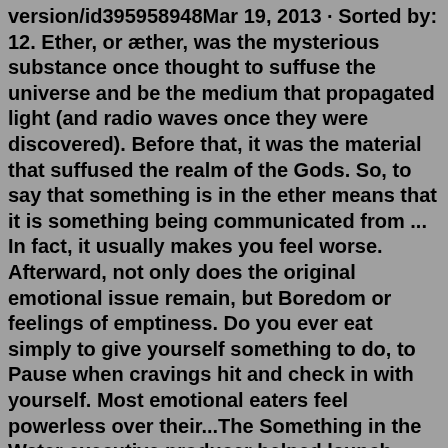version/id395958948Mar 19, 2013 · Sorted by: 12. Ether, or æther, was the mysterious substance once thought to suffuse the universe and be the medium that propagated light (and radio waves once they were discovered). Before that, it was the material that suffused the realm of the Gods. So, to say that something is in the ether means that it is something being communicated from ... In fact, it usually makes you feel worse. Afterward, not only does the original emotional issue remain, but Boredom or feelings of emptiness. Do you ever eat simply to give yourself something to do, to Pause when cravings hit and check in with yourself. Most emotional eaters feel powerless over their...The Something in the Water executive producer helped launch Listen Learn Love VB. The group was organized to "fast-track the diversity and inclusion conversation" and "rebrand Virginia Beach ...Most large predatory animals can and will see humans as suitable prey under the right circumstances; however, true "man eaters", that is, individuals that make humans part of...